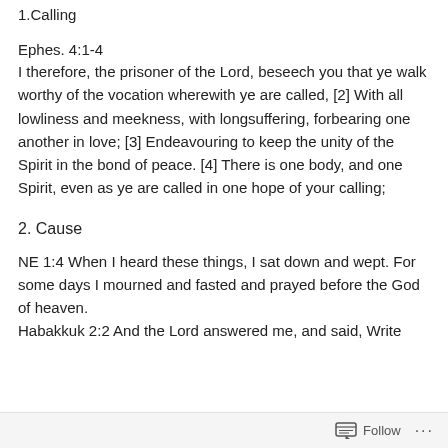1.Calling
Ephes. 4:1-4
I therefore, the prisoner of the Lord, beseech you that ye walk worthy of the vocation wherewith ye are called, [2] With all lowliness and meekness, with longsuffering, forbearing one another in love; [3] Endeavouring to keep the unity of the Spirit in the bond of peace. [4] There is one body, and one Spirit, even as ye are called in one hope of your calling;
2. Cause
NE 1:4 When I heard these things, I sat down and wept. For some days I mourned and fasted and prayed before the God of heaven.
Habakkuk 2:2 And the Lord answered me, and said, Write
Follow